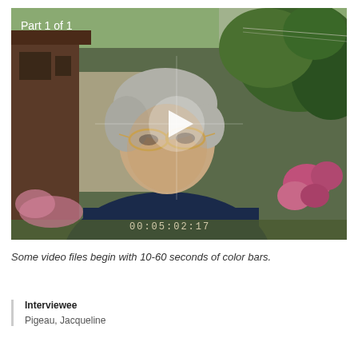[Figure (photo): Video thumbnail showing an elderly woman with gray hair and glasses wearing a dark navy shirt, filmed outdoors with garden/shed background. Overlay shows 'Part 1 of 1' text in upper left, a white play button triangle in the center, and timecode '00:05:02:17' at the bottom.]
Some video files begin with 10-60 seconds of color bars.
Interviewee
Pigeau, Jacqueline